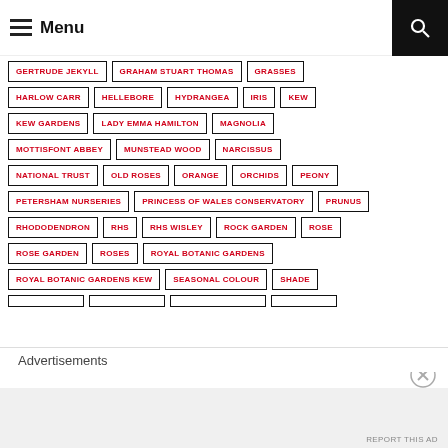Menu
GERTRUDE JEKYLL
GRAHAM STUART THOMAS
GRASSES
HARLOW CARR
HELLEBORE
HYDRANGEA
IRIS
KEW
KEW GARDENS
LADY EMMA HAMILTON
MAGNOLIA
MOTTISFONT ABBEY
MUNSTEAD WOOD
NARCISSUS
NATIONAL TRUST
OLD ROSES
ORANGE
ORCHIDS
PEONY
PETERSHAM NURSERIES
PRINCESS OF WALES CONSERVATORY
PRUNUS
RHODODENDRON
RHS
RHS WISLEY
ROCK GARDEN
ROSE
ROSE GARDEN
ROSES
ROYAL BOTANIC GARDENS
ROYAL BOTANIC GARDENS KEW
SEASONAL COLOUR
SHADE
Advertisements
REPORT THIS AD